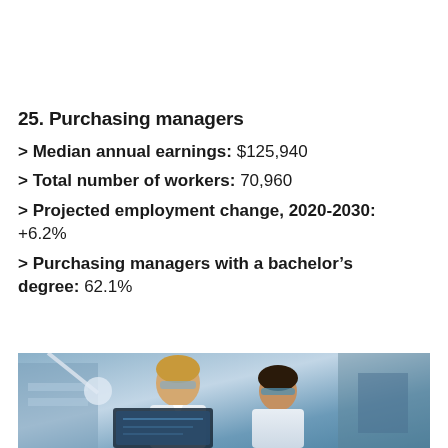25. Purchasing managers
> Median annual earnings: $125,940
> Total number of workers: 70,960
> Projected employment change, 2020-2030: +6.2%
> Purchasing managers with a bachelor’s degree: 62.1%
[Figure (photo): Two scientists or lab workers wearing safety glasses and white coats examining something at a workstation in a laboratory setting]